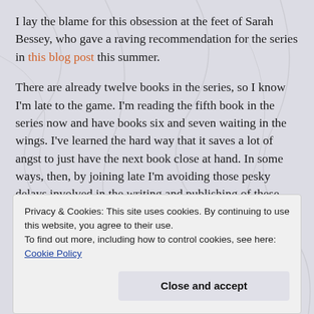I lay the blame for this obsession at the feet of Sarah Bessey, who gave a raving recommendation for the series in this blog post this summer.
There are already twelve books in the series, so I know I'm late to the game. I'm reading the fifth book in the series now and have books six and seven waiting in the wings. I've learned the hard way that it saves a lot of angst to just have the next book close at hand. In some ways, then, by joining late I'm avoiding those pesky delays involved in the writing and publishing of these little masterpieces… at least until I hit book twelve. I
Privacy & Cookies: This site uses cookies. By continuing to use this website, you agree to their use.
To find out more, including how to control cookies, see here: Cookie Policy
Close and accept